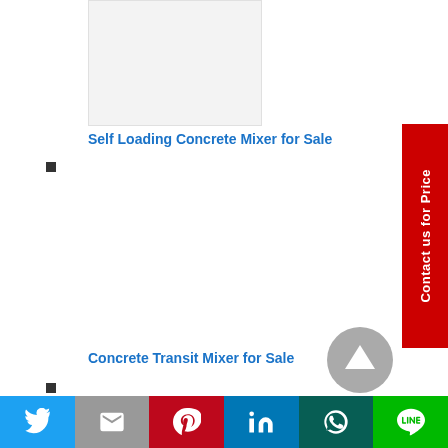[Figure (photo): Product image placeholder for Self Loading Concrete Mixer]
Self Loading Concrete Mixer for Sale
[Figure (photo): Product image area for Concrete Transit Mixer]
Concrete Transit Mixer for Sale
[Figure (other): Contact us for Price red vertical sidebar button]
[Figure (other): Scroll to top circular button]
[Figure (other): Social sharing bar with Twitter, Gmail, Pinterest, LinkedIn, WhatsApp, Line icons]